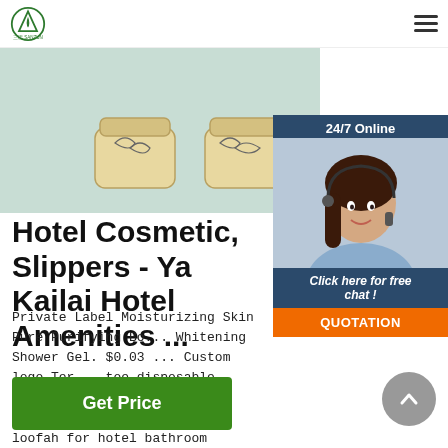三巴 SANZUN logo and hamburger menu
[Figure (photo): Two glass cosmetic jars with botanical leaf illustrations on a light green/mint background]
[Figure (photo): 24/7 Online chat widget showing a smiling female customer service agent wearing a headset, with 'Click here for free chat!' text and QUOTATION button]
Hotel Cosmetic, Slippers - Ya... Kailai Hotel Amenities ...
Private Label Moisturizing Skin Pure Purifying Bo... Whitening Shower Gel. $0.03 ... Custom logo Ter... toe disposable hotel slipper. $0.10 - $0.80 Pair. 5000 Pairs ... Natural loofah for hotel bathroom disposable eco-friendly loofah. $0.15 - $0.30 Piece. 5000 Pieces ...
Get Price